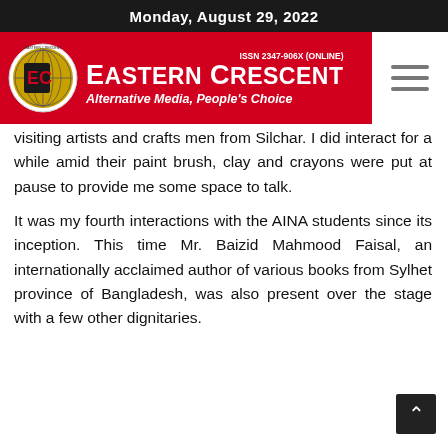Monday, August 29, 2022
[Figure (logo): Eastern Crescent newspaper banner with logo, title 'EASTERN CRESCENT', ISSN 2347-906X (ONLINE), subtitle 'Alternative Media, People's Choice' on red background]
visiting artists and crafts men from Silchar. I did interact for a while amid their paint brush, clay and crayons were put at pause to provide me some space to talk.
It was my fourth interactions with the AINA students since its inception. This time Mr. Baizid Mahmood Faisal, an internationally acclaimed author of various books from Sylhet province of Bangladesh, was also present over the stage with a few other dignitaries.